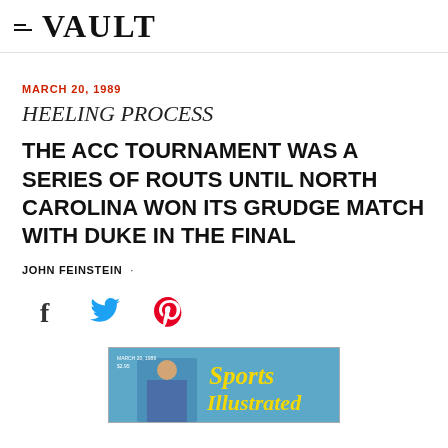VAULT
MARCH 20, 1989
HEELING PROCESS
THE ACC TOURNAMENT WAS A SERIES OF ROUTS UNTIL NORTH CAROLINA WON ITS GRUDGE MATCH WITH DUKE IN THE FINAL
JOHN FEINSTEIN ·
[Figure (illustration): Social share icons: Facebook (f), Twitter (bird), Pinterest (P)]
[Figure (photo): Partial Sports Illustrated magazine cover showing a person and yellow 'Sports Illustrated' text on blue background]